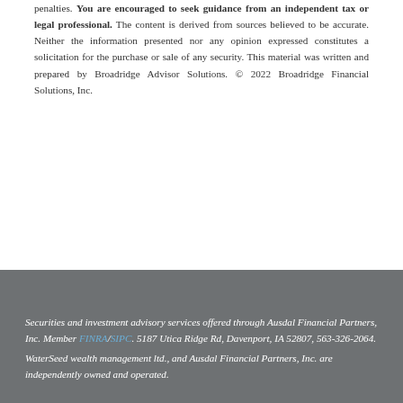penalties. You are encouraged to seek guidance from an independent tax or legal professional. The content is derived from sources believed to be accurate. Neither the information presented nor any opinion expressed constitutes a solicitation for the purchase or sale of any security. This material was written and prepared by Broadridge Advisor Solutions. © 2022 Broadridge Financial Solutions, Inc.
Securities and investment advisory services offered through Ausdal Financial Partners, Inc. Member FINRA/SIPC. 5187 Utica Ridge Rd, Davenport, IA 52807, 563-326-2064. WaterSeed wealth management ltd., and Ausdal Financial Partners, Inc. are independently owned and operated.